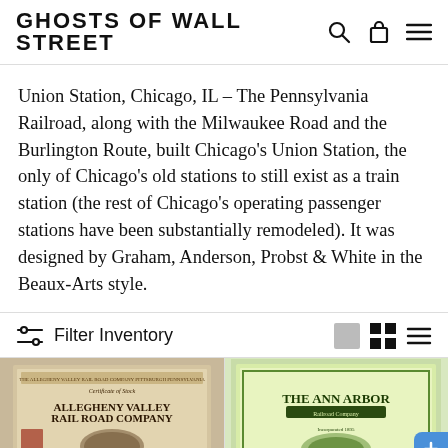GHOSTS OF WALL STREET
Union Station, Chicago, IL – The Pennsylvania Railroad, along with the Milwaukee Road and the Burlington Route, built Chicago's Union Station, the only of Chicago's old stations to still exist as a train station (the rest of Chicago's operating passenger stations have been substantially remodeled). It was designed by Graham, Anderson, Probst & White in the Beaux-Arts style.
Filter Inventory
[Figure (photo): Two vintage railroad stock certificate images shown as product thumbnails side by side: left is Allegheny Valley Rail Road Company certificate, right is The Ann Arbor Railroad Company certificate.]